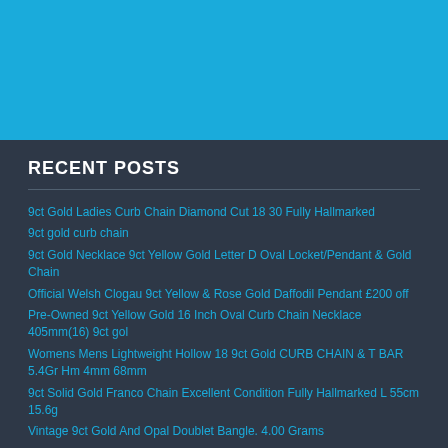[Figure (other): Solid sky-blue banner at the top of the page]
RECENT POSTS
9ct Gold Ladies Curb Chain Diamond Cut 18 30 Fully Hallmarked
9ct gold curb chain
9ct Gold Necklace 9ct Yellow Gold Letter D Oval Locket/Pendant & Gold Chain
Official Welsh Clogau 9ct Yellow & Rose Gold Daffodil Pendant £200 off
Pre-Owned 9ct Yellow Gold 16 Inch Oval Curb Chain Necklace 405mm(16) 9ct gol
Womens Mens Lightweight Hollow 18 9ct Gold CURB CHAIN & T BAR 5.4Gr Hm 4mm 68mm
9ct Solid Gold Franco Chain Excellent Condition Fully Hallmarked L 55cm 15.6g
Vintage 9ct Gold And Opal Doublet Bangle. 4.00 Grams
I12 36 9ct Gold Italian Cage Chain 7 5mm 36
8ct YELLOW GOLD SOLID FIGARO NECKLACE CHAIN 18 NC 32